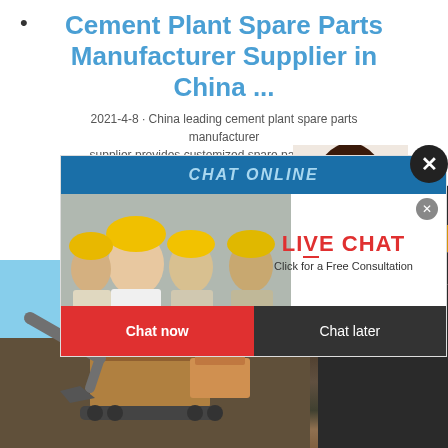Cement Plant Spare Parts Manufacturer Supplier in China ...
2021-4-8 · China leading cement plant spare parts manufacturer supplier provides customized spare parts, auxiliary equipment, MRO Solutions for
[Figure (screenshot): Live chat popup with workers in hard hats, LIVE CHAT text, 'Click for a Free Consultation', Chat now (red button) and Chat later (dark button)]
[Figure (photo): Customer service woman with headset on right side]
[Figure (photo): Heavy machinery / excavator and cement plant equipment at bottom]
ave any requests, click here.
Quotation
Enquiry
limingjlmofen@sina.com